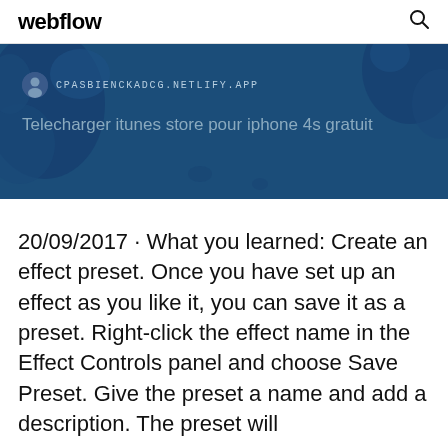webflow
[Figure (screenshot): Hero banner with dark blue background showing world map blobs, URL label CPASBIENCKADCG.NETLIFY.APP with avatar icon, and title 'Telecharger itunes store pour iphone 4s gratuit']
20/09/2017 · What you learned: Create an effect preset. Once you have set up an effect as you like it, you can save it as a preset. Right-click the effect name in the Effect Controls panel and choose Save Preset. Give the preset a name and add a description. The preset will